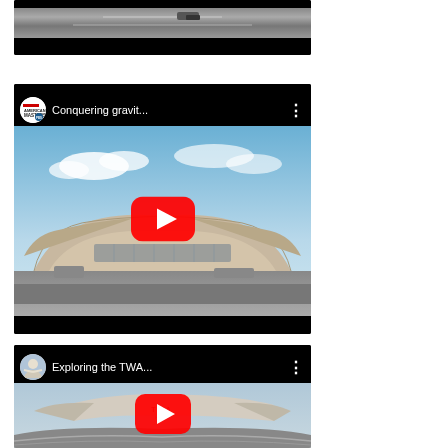[Figure (screenshot): Partial YouTube video thumbnail at top of page showing a black and white aerial/road scene, cropped showing only bottom portion with black letterbox bars]
[Figure (screenshot): YouTube video thumbnail for 'Conquering gravit...' from American Masters PBS channel, showing the TWA Flight Center building with curved modernist architecture under blue sky, with a red YouTube play button in center]
[Figure (screenshot): YouTube video thumbnail for 'Exploring the TWA...' showing aerial view of the TWA Hotel and airport roads, with a red YouTube play button in center]